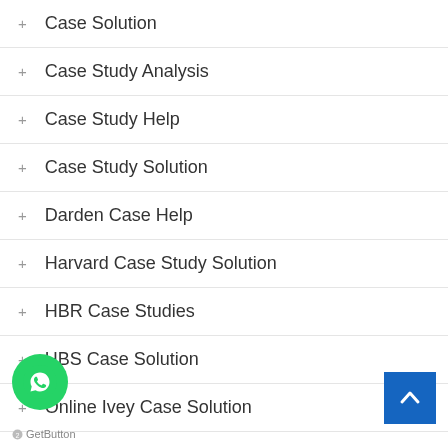Case Solution
Case Study Analysis
Case Study Help
Case Study Solution
Darden Case Help
Harvard Case Study Solution
HBR Case Studies
HBS Case Solution
Online Ivey Case Solution
Uncategorized
[Figure (logo): WhatsApp chat button (green circular icon)]
[Figure (other): Back to top blue square button with up chevron]
GetButton